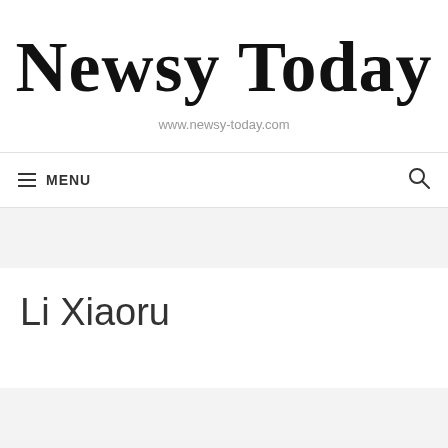Newsy Today
www.newsy-today.com
MENU
Li Xiaoru